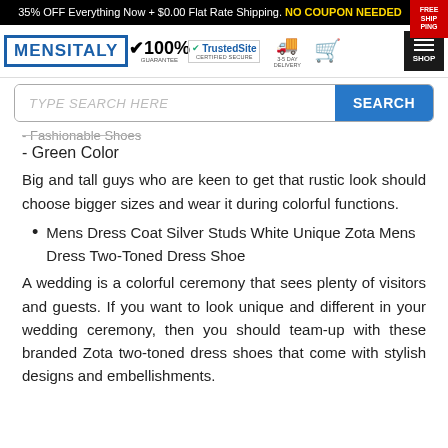35% OFF Everything Now + $0.00 Flat Rate Shipping. NO COUPON NEEDED
[Figure (logo): MensItaly logo with blue border, 100% guarantee badge, TrustedSite Certified Secure badge, 3-5 Day Delivery badge, shopping cart icon, and hamburger menu with SHOP label]
[Figure (screenshot): Search bar with placeholder TYPE SEARCH HERE and blue SEARCH button]
- Fashionable Shoes (partial, clipped at top)
- Green Color
Big and tall guys who are keen to get that rustic look should choose bigger sizes and wear it during colorful functions.
Mens Dress Coat Silver Studs White Unique Zota Mens Dress Two-Toned Dress Shoe
A wedding is a colorful ceremony that sees plenty of visitors and guests. If you want to look unique and different in your wedding ceremony, then you should team-up with these branded Zota two-toned dress shoes that come with stylish designs and embellishments.